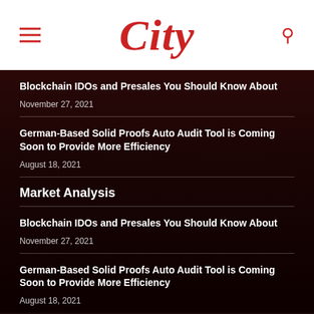City
Blockchain IDOs and Presales You Should Know About
November 27, 2021
German-Based Solid Proofs Auto Audit Tool is Coming Soon to Provide More Efficiency
August 18, 2021
Market Analysis
Blockchain IDOs and Presales You Should Know About
November 27, 2021
German-Based Solid Proofs Auto Audit Tool is Coming Soon to Provide More Efficiency
August 18, 2021